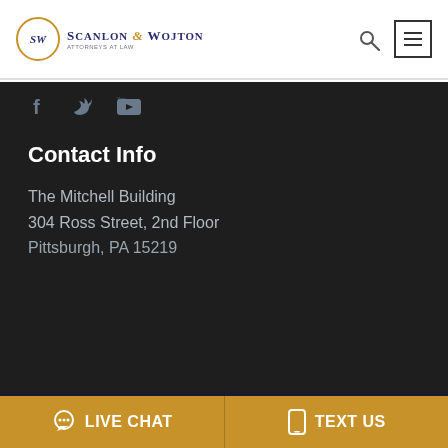Scanlon & Wojton Attorneys at Law
[Figure (logo): Scanlon & Wojton law firm logo with circular SW monogram in gold circle and firm name in navy blue]
f (Facebook icon) (Twitter icon) (YouTube icon)
Contact Info
The Mitchell Building
304 Ross Street, 2nd Floor
Pittsburgh, PA 15219
We are using cookies to give you the best experience. You can find out more about which cookies we are using or switch them off via Cookie Settings Window.
LIVE CHAT
TEXT US